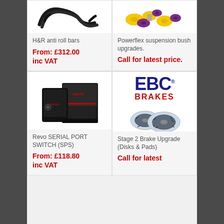[Figure (photo): H&R anti roll bars product photo - black curved metal bars]
[Figure (photo): Powerflex suspension bush upgrades - yellow and purple rubber bushings]
H&R anti roll bars
From: £312.00 inc VAT
Powerflex suspension bush upgrades.
Call for latest price.
[Figure (photo): Revo Serial Port Switch (SPS) - black electronic device with packaging box]
[Figure (photo): EBC Brakes logo and two slotted brake discs/rotors]
Revo SERIAL PORT SWITCH (SPS)
From: £118.80 inc VAT
Stage 2 Brake Upgrade (Disks & Pads)
Call for latest